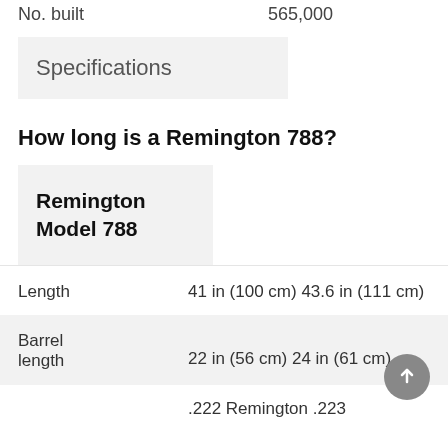|  |  |
| --- | --- |
| No. built | 565,000 |
Specifications
How long is a Remington 788?
| Remington Model 788 |  |
| --- | --- |
| Length | 41 in (100 cm) 43.6 in (111 cm) |
| Barrel length | 22 in (56 cm) 24 in (61 cm) |
|  | .222 Remington .223 |